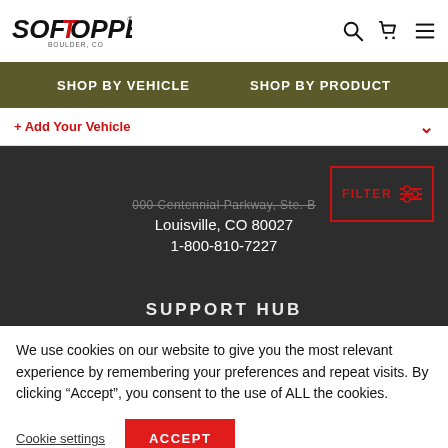[Figure (logo): SofTopper Boulder, CO logo in black and red]
SHOP BY VEHICLE   SHOP BY PRODUCT
+ Add Your Vehicle
000 Centennial Parkway, Ste. B
Louisville, CO 80027
1-800-810-7227
FILTER
SUPPORT HUB
We use cookies on our website to give you the most relevant experience by remembering your preferences and repeat visits. By clicking “Accept”, you consent to the use of ALL the cookies.
Cookie settings
ACCEPT